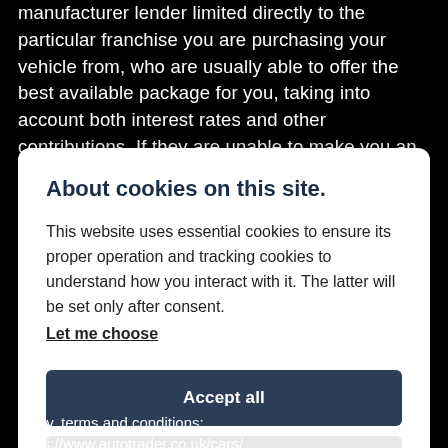manufacturer lender limited directly to the particular franchise you are purchasing your vehicle from, who are usually able to offer the best available package for you, taking into account both interest rates and other contributions. If they are unable to make you an offer of finance, we then seek to introduce you to whichever of the other lenders on our panel is able to make the next best offer of finance for you. Our aim is to secure the best deal you are eligible for from our panel of lenders. Lenders may
About cookies on this site.
This website uses essential cookies to ensure its proper operation and tracking cookies to understand how you interact with it. The latter will be set only after consent. Let me choose
Accept all
Reject all
ernity, terms and conditions: https://www.autotrader.co.uk/cars/